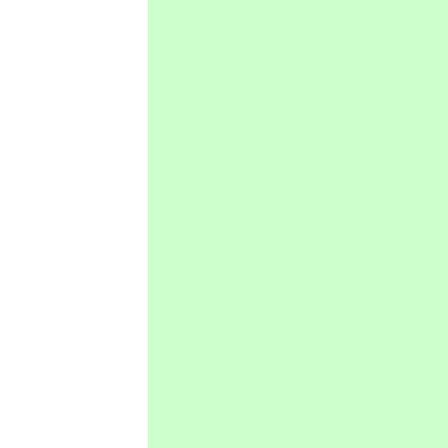[Figure (other): Green-shaded panel on the left portion of the page]
* The profile doesn't * See DebuggingApp You may also disable * Can I adjust the pro * Certainly! You can requirements. For ``` and reload it with ```s [[https://help.ubuntu. details on using App` consult DebuggingApp Debian conffile, which with the changes. In U ubuntu-browsers.d ab and avoid being prom
=== Update Manage
* Why does `update- * As of Ubuntu 11.10 updates. This was dec updates and therefore * Like in previous re perform security upda * Only updates for a